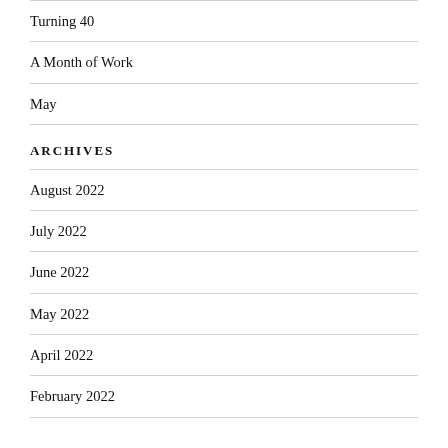Turning 40
A Month of Work
May
ARCHIVES
August 2022
July 2022
June 2022
May 2022
April 2022
February 2022